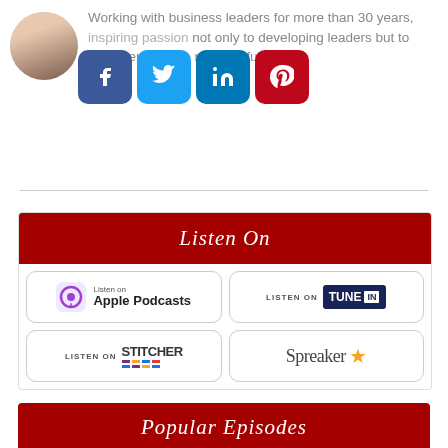Working with business leaders for more than 30 years, inspiring passion not only to developing leaders but to help them build a meaningful legacy.
[Figure (infographic): Social media share buttons: Facebook (blue), Twitter (light blue), LinkedIn (blue), Pinterest (red)]
[Figure (infographic): Listen On section with podcast platform buttons: Apple Podcasts, TuneIn, Stitcher, Spreaker]
Listen On
Popular Episodes